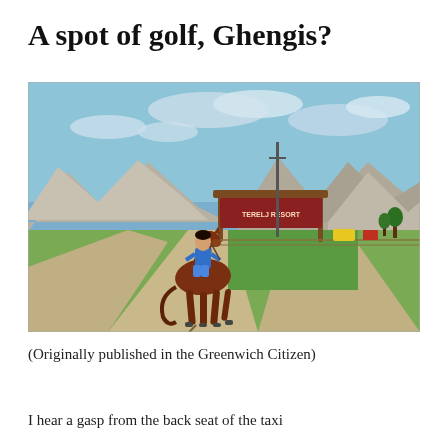A spot of golf, Ghengis?
[Figure (photo): A young child riding a brown horse on a dirt road, with green fields, wooden signage, and rocky mountains in the background under a partly cloudy blue sky.]
(Originally published in the Greenwich Citizen)
I hear a gasp from the back seat of the taxi